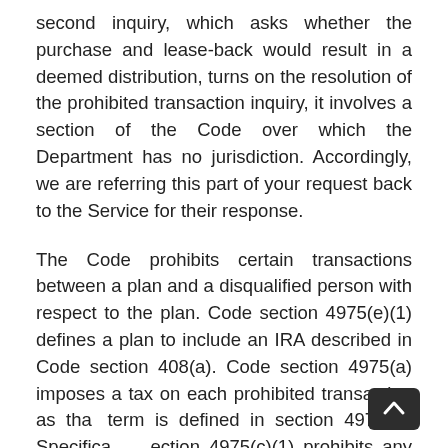second inquiry, which asks whether the purchase and lease-back would result in a deemed distribution, turns on the resolution of the prohibited transaction inquiry, it involves a section of the Code over which the Department has no jurisdiction. Accordingly, we are referring this part of your request back to the Service for their response.
The Code prohibits certain transactions between a plan and a disqualified person with respect to the plan. Code section 4975(e)(1) defines a plan to include an IRA described in Code section 408(a). Code section 4975(a) imposes a tax on each prohibited transaction as that term is defined in section 4975(c). Specifically, section 4975(c)(1) prohibits any direct or indirect sale or